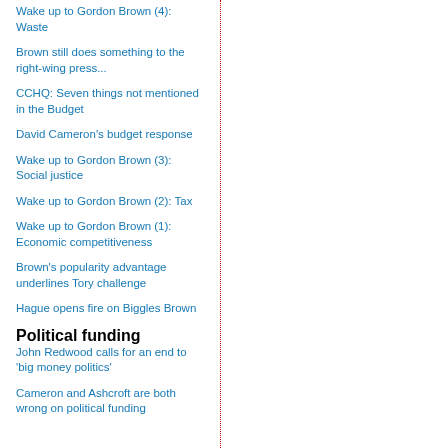Wake up to Gordon Brown (4): Waste
Brown still does something to the right-wing press...
CCHQ: Seven things not mentioned in the Budget
David Cameron's budget response
Wake up to Gordon Brown (3): Social justice
Wake up to Gordon Brown (2): Tax
Wake up to Gordon Brown (1): Economic competitiveness
Brown's popularity advantage underlines Tory challenge
Hague opens fire on Biggles Brown
Political funding
John Redwood calls for an end to 'big money politics'
Cameron and Ashcroft are both wrong on political funding